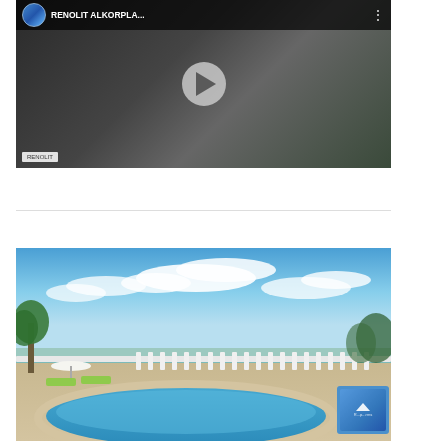[Figure (screenshot): YouTube video thumbnail showing a person working at a table with a pool/outdoor scene in background, with RENOLIT ALKORPLA... title and channel icon in header bar, and play button overlay]
[Figure (photo): Outdoor swimming pool area with blue sky and clouds, palm trees, white balustrade railing with sea view, loungers and parasol, oval pool with blue water]